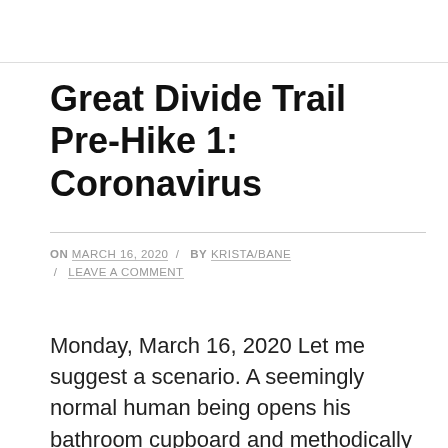Great Divide Trail Pre-Hike 1: Coronavirus
ON MARCH 16, 2020 / BY KRISTA/BANE / LEAVE A COMMENT
Monday, March 16, 2020 Let me suggest a scenario. A seemingly normal human being opens his bathroom cupboard and methodically counts the eight rolls of toilet paper inside. He frowns. He drives to the supermarket. He fights another